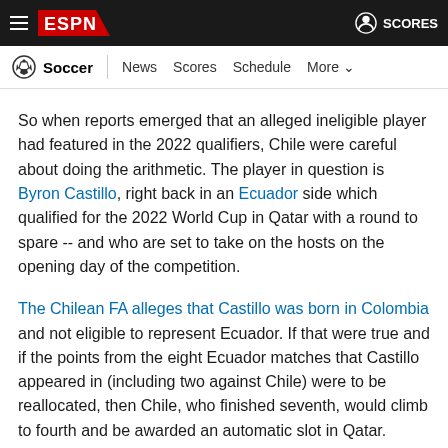ESPN - Soccer | News Scores Schedule More | SCORES
So when reports emerged that an alleged ineligible player had featured in the 2022 qualifiers, Chile were careful about doing the arithmetic. The player in question is Byron Castillo, right back in an Ecuador side which qualified for the 2022 World Cup in Qatar with a round to spare -- and who are set to take on the hosts on the opening day of the competition.
The Chilean FA alleges that Castillo was born in Colombia and not eligible to represent Ecuador. If that were true and if the points from the eight Ecuador matches that Castillo appeared in (including two against Chile) were to be reallocated, then Chile, who finished seventh, would climb to fourth and be awarded an automatic slot in Qatar.